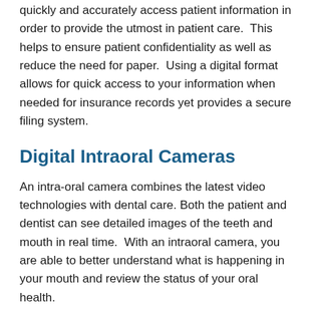quickly and accurately access patient information in order to provide the utmost in patient care.  This helps to ensure patient confidentiality as well as reduce the need for paper.  Using a digital format allows for quick access to your information when needed for insurance records yet provides a secure filing system.
Digital Intraoral Cameras
An intra-oral camera combines the latest video technologies with dental care. Both the patient and dentist can see detailed images of the teeth and mouth in real time.  With an intraoral camera, you are able to better understand what is happening in your mouth and review the status of your oral health.